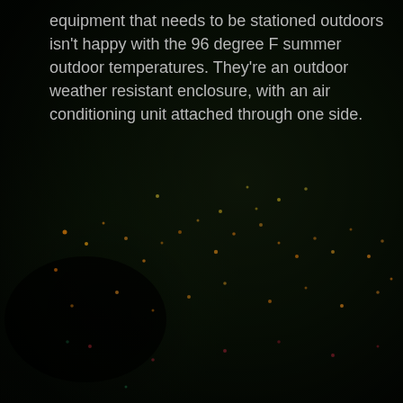[Figure (photo): Dark outdoor textured background photo, appearing to show a dark green/brown rough surface with scattered small orange, yellow and reddish specks of light or particles. A dark shadowy mass is visible in the lower left area.]
equipment that needs to be stationed outdoors isn't happy with the 96 degree F summer outdoor temperatures. They're an outdoor weather resistant enclosure, with an air conditioning unit attached through one side.